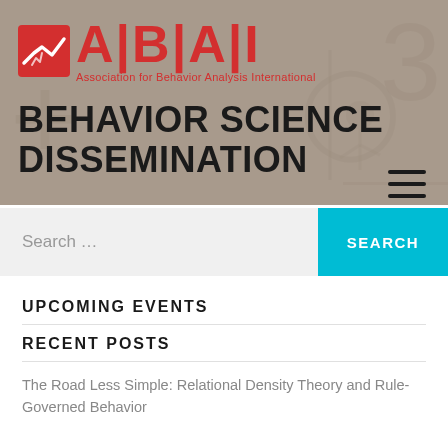[Figure (logo): ABAI logo with red icon and red text 'A|B|A|I' and subtitle 'Association for Behavior Analysis International']
BEHAVIOR SCIENCE DISSEMINATION
Search ...
UPCOMING EVENTS
RECENT POSTS
The Road Less Simple: Relational Density Theory and Rule-Governed Behavior